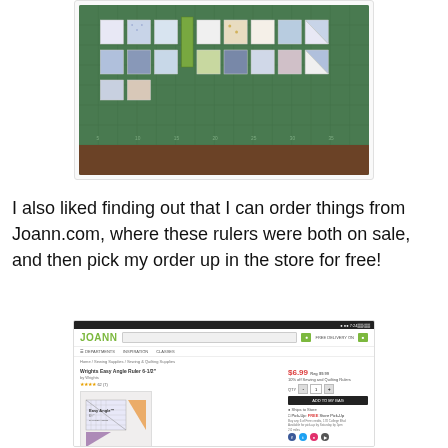[Figure (photo): Photo of quilt fabric squares arranged on a green cutting mat on a wooden table. Various blue, white, green patterned fabrics cut into squares and half-square triangles laid out in rows.]
I also liked finding out that I can order things from Joann.com, where these rulers were both on sale, and then pick my order up in the store for free!
[Figure (screenshot): Screenshot of Joann.com website showing a product page for 'Wrights Easy Angle Ruler 6-1/2' priced at $6.99 with 10% off Sewing and Quilting Rulers sale. Shows star rating, Add to My Bag button, Ships to Store option, and Pick-Up: FREE Store Pick-Up option. Easy Angle ruler product image visible. Social media icons at bottom.]